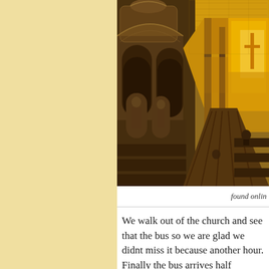[Figure (photo): Interior of an ornate baroque church with gilded altarpieces, carved arches, religious statues in niches along the nave walls, and warm golden lighting illuminating the ceiling and altar at the far end. Dark wooden pews are visible in the foreground.]
found onlin
We walk out of the church and see that the bus so we are glad we didnt miss it because another hour. Finally the bus arrives half